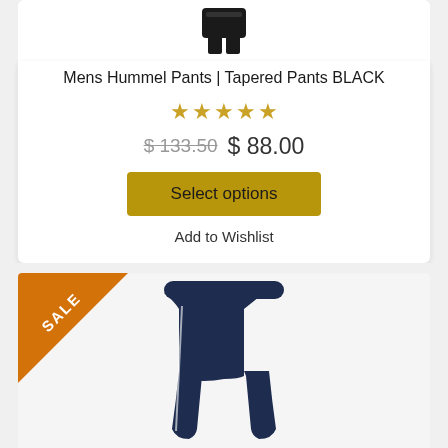[Figure (photo): Black tapered pants product image (partial, top portion)]
Mens Hummel Pants | Tapered Pants BLACK
★★★★★ (empty star rating, 5 stars outline)
$ 133.50  $ 88.00
Select options
Add to Wishlist
[Figure (photo): Navy blue tapered/jogger pants product image with white side stripe, SALE ribbon badge in orange at top-left corner]